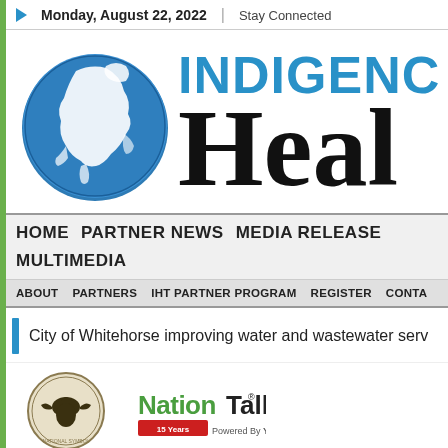Monday, August 22, 2022 | Stay Connected
[Figure (logo): Indigenous Health website header with globe logo and site title 'INDIGENOUS Heal...' (truncated)]
HOME   PARTNER NEWS   MEDIA RELEASE...   MULTIMEDIA
ABOUT   PARTNERS   IHT PARTNER PROGRAM   REGISTER   CONTA...
City of Whitehorse improving water and wastewater serv...
[Figure (logo): Two logos: a circular eagle/national symbol logo and NationTalk 15 Years Powered By YOU! logo]